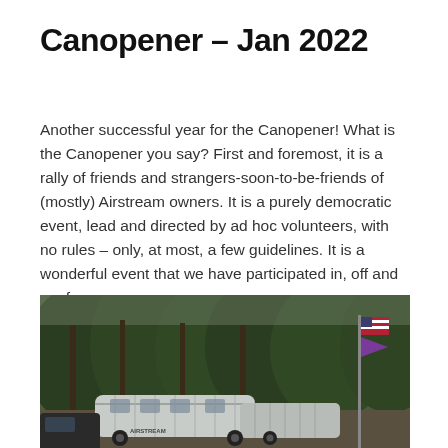Canopener – Jan 2022
Another successful year for the Canopener!  What is the Canopener you say?  First and foremost, it is a rally of friends and strangers-soon-to-be-friends of (mostly) Airstream owners.  It is a purely democratic event, lead and directed by ad hoc volunteers, with no rules – only, at most, a few guidelines.  It is a wonderful event that we have participated in, off and on, for years.
[Figure (photo): Outdoor campground scene with Airstream trailers parked among tall pine trees. An American flag and a purple flag are visible on a pole to the right. The sky is overcast and trees form a dense backdrop.]